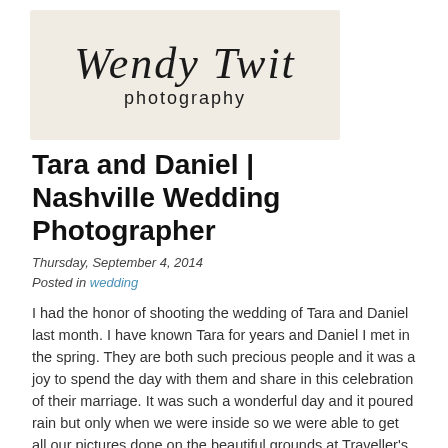[Figure (logo): Wendy Twit Photography logo with cursive script text on a beige/tan background]
Tara and Daniel | Nashville Wedding Photographer
Thursday, September 4, 2014
Posted in wedding
I had the honor of shooting the wedding of Tara and Daniel last month.  I have known Tara for years and Daniel I met in the spring.  They are both such precious people and it was a joy to spend the day with them and share in this celebration of their marriage.  It was such a wonderful day and it poured rain but only when we were inside so we were able to get all our pictures done on the beautiful grounds at Traveller's Rest.